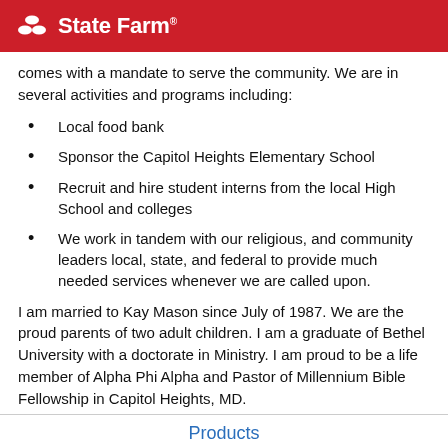State Farm
comes with a mandate to serve the community. We are in several activities and programs including:
Local food bank
Sponsor the Capitol Heights Elementary School
Recruit and hire student interns from the local High School and colleges
We work in tandem with our religious, and community leaders local, state, and federal to provide much needed services whenever we are called upon.
I am married to Kay Mason since July of 1987. We are the proud parents of two adult children. I am a graduate of Bethel University with a doctorate in Ministry. I am proud to be a life member of Alpha Phi Alpha and Pastor of Millennium Bible Fellowship in Capitol Heights, MD.
Products